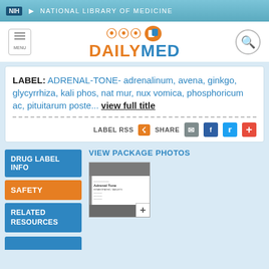NIH NATIONAL LIBRARY OF MEDICINE
[Figure (logo): DailyMed logo with orange and blue text and circular icon]
LABEL: ADRENAL-TONE- adrenalinum, avena, ginkgo, glycyrrhiza, kali phos, nat mur, nux vomica, phosphoricum ac, pituitarum poste... view full title
LABEL RSS  SHARE
VIEW PACKAGE PHOTOS
[Figure (photo): Package photo thumbnail of Adrenal Tone product with plus icon]
DRUG LABEL INFO
SAFETY
RELATED RESOURCES